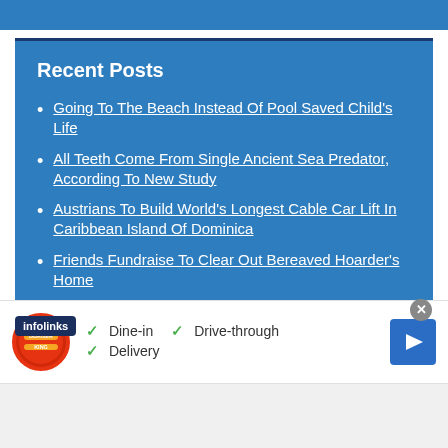Recent Posts
Going To The Beach Instead Of Pool Saved Child's Life
All Teeth Come From Single Ancient Sea Predator, According To New Study
Austrians To Build World's Longest Cable Car Lift In Caribbean Island Of Dominica
Friends Fundraise To Clear Out Bereaved Hoarder's Home
[Figure (screenshot): Advertisement banner for Burger King showing Dine-in, Drive-through, and Delivery options with checkmarks and a blue arrow icon]